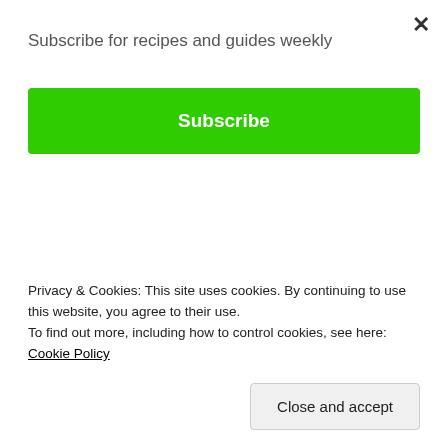Subscribe for recipes and guides weekly
Subscribe
Leave a comment
[Figure (photo): Close-up food photo showing a round bread roll or pastry with orange-red spicing, alongside roasted meat and green herbs on a plate with cutlery visible]
Privacy & Cookies: This site uses cookies. By continuing to use this website, you agree to their use.
To find out more, including how to control cookies, see here: Cookie Policy
Close and accept